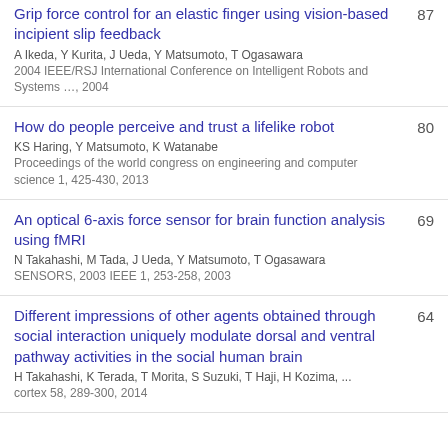Grip force control for an elastic finger using vision-based incipient slip feedback | A Ikeda, Y Kurita, J Ueda, Y Matsumoto, T Ogasawara | 2004 IEEE/RSJ International Conference on Intelligent Robots and Systems …, 2004 | 87
How do people perceive and trust a lifelike robot | KS Haring, Y Matsumoto, K Watanabe | Proceedings of the world congress on engineering and computer science 1, 425-430, 2013 | 80
An optical 6-axis force sensor for brain function analysis using fMRI | N Takahashi, M Tada, J Ueda, Y Matsumoto, T Ogasawara | SENSORS, 2003 IEEE 1, 253-258, 2003 | 69
Different impressions of other agents obtained through social interaction uniquely modulate dorsal and ventral pathway activities in the social human brain | H Takahashi, K Terada, T Morita, S Suzuki, T Haji, H Kozima, ... | cortex 58, 289-300, 2014 | 64